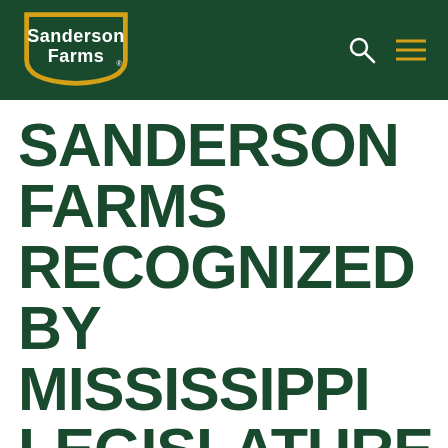[Figure (logo): Sanderson Farms logo with shield shape, yellow border, white text on dark green background]
SANDERSON FARMS RECOGNIZED BY MISSISSIPPI LEGISLATURE FOR 75TH ANNIVERSARY